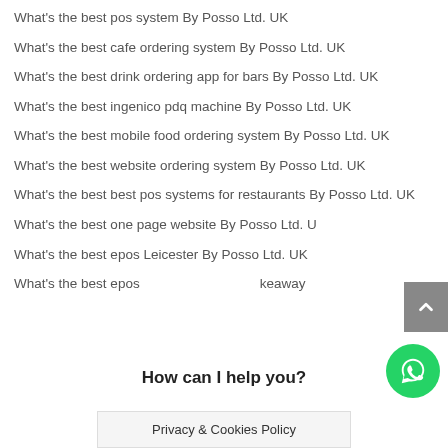What's the best pos system By Posso Ltd. UK
What's the best cafe ordering system By Posso Ltd. UK
What's the best drink ordering app for bars By Posso Ltd. UK
What's the best ingenico pdq machine By Posso Ltd. UK
What's the best mobile food ordering system By Posso Ltd. UK
What's the best website ordering system By Posso Ltd. UK
What's the best best pos systems for restaurants By Posso Ltd. UK
What's the best one page website By Posso Ltd. UK
What's the best epos Leicester By Posso Ltd. UK
What's the best epos ... takeaway